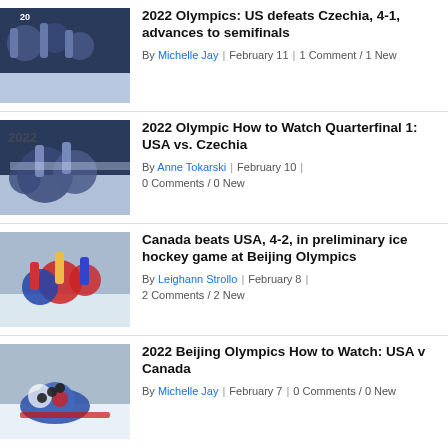[Figure (photo): Ice hockey players in blue USA uniforms on ice rink]
2022 Olympics: US defeats Czechia, 4-1, advances to semifinals
By Michelle Jay | February 11 | 1 Comment / 1 New
[Figure (photo): Team USA ice hockey players huddled together at 2022 Beijing Olympics]
2022 Olympic How to Watch Quarterfinal 1: USA vs. Czechia
By Anne Tokarski | February 10 | 0 Comments / 0 New
[Figure (photo): Ice hockey action shot Canada vs USA at Beijing Olympics]
Canada beats USA, 4-2, in preliminary ice hockey game at Beijing Olympics
By Leighann Strollo | February 8 | 2 Comments / 2 New
[Figure (photo): Goalie making save with puck visible at 2022 Beijing Olympics ice hockey game]
2022 Beijing Olympics How to Watch: USA v Canada
By Michelle Jay | February 7 | 0 Comments / 0 New